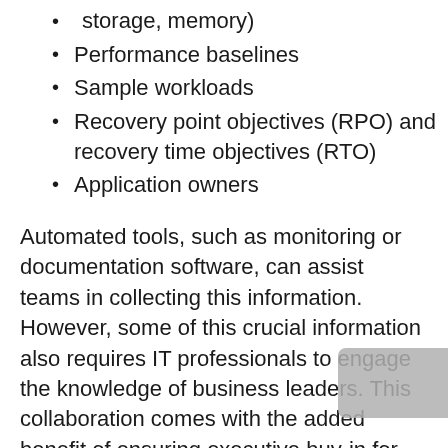storage, memory)
Performance baselines
Sample workloads
Recovery point objectives (RPO) and recovery time objectives (RTO)
Application owners
Automated tools, such as monitoring or documentation software, can assist teams in collecting this information. However, some of this crucial information also requires IT professionals to engage the knowledge of business leaders. This collaboration comes with the added benefit of ensuring executive buy-in for the migration. Earning this buy-in is an essential step in the migration process, as it means leaders fully understand the process and can take measures to support